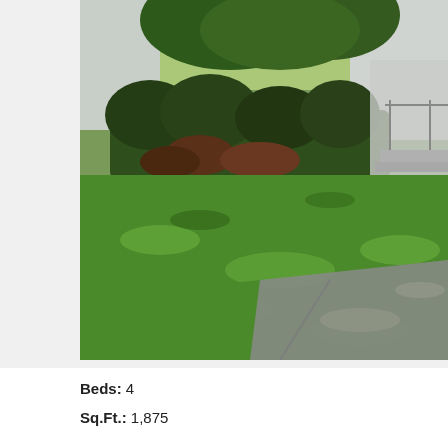[Figure (photo): Exterior photograph of a residential house showing a green front lawn with concrete sidewalk, hedges and bushes along the front of the house, and a white house structure with steps and railing visible in the background.]
Beds: 4
Sq.Ft.: 1,875